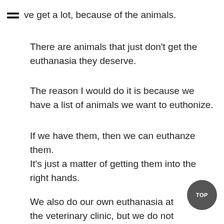ve get a lot, because of the animals.
There are animals that just don't get the euthanasia they deserve.
The reason I would do it is because we have a list of animals we want to euthonize.
If we have them, then we can euthanze them.
It's just a matter of getting them into the right hands.
We also do our own euthanasia at the veterinary clinic, but we do not do it there.